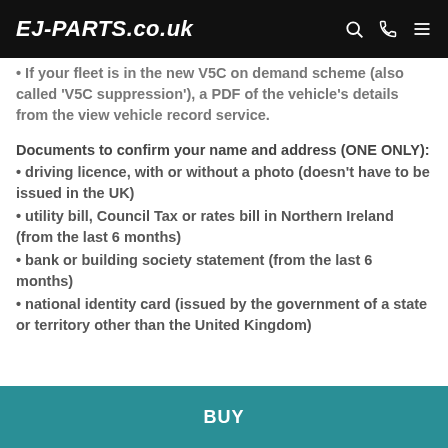EJ-PARTS.co.uk
• If your fleet is in the new V5C on demand scheme (also called 'V5C suppression'), a PDF of the vehicle's details from the view vehicle record service.
Documents to confirm your name and address (ONE ONLY):
• driving licence, with or without a photo (doesn't have to be issued in the UK)
• utility bill, Council Tax or rates bill in Northern Ireland (from the last 6 months)
• bank or building society statement (from the last 6 months)
• national identity card (issued by the government of a state or territory other than the United Kingdom)